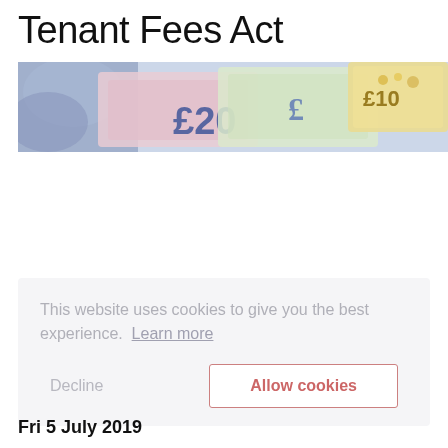Tenant Fees Act
[Figure (photo): Close-up photo of British currency banknotes including £10 and £20 notes, with blue, pink, green and gold colours visible.]
This website uses cookies to give you the best experience.  Learn more
Decline
Allow cookies
Fri 5 July 2019